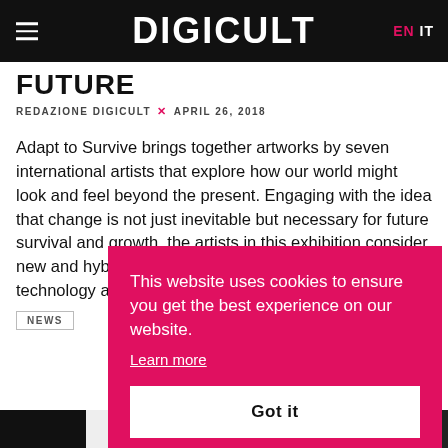DIGICULT | EN IT
FUTURE
REDAZIONE DIGICULT × APRIL 26, 2018
Adapt to Survive brings together artworks by seven international artists that explore how our world might look and feel beyond the present. Engaging with the idea that change is not just inevitable but necessary for future survival and growth, the artists in this exhibition consider new and hybrid forms of architecture, biology, technology and language.
NEWS
[Figure (screenshot): Cookie consent overlay on pink/magenta background with text: This website uses cookies to ensure you get the best experience on our website. Learn more. Got it button.]
[Figure (photo): Black and white image strip at the bottom of the page]